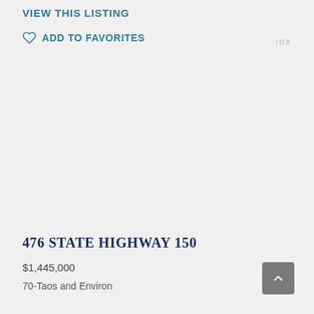VIEW THIS LISTING
ADD TO FAVORITES
idx
476 STATE HIGHWAY 150
$1,445,000
70-Taos and Environ